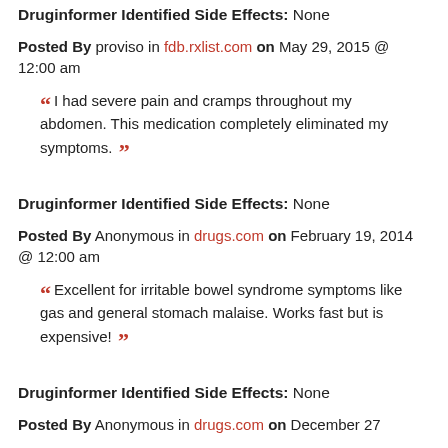Druginformer Identified Side Effects: None
Posted By proviso in fdb.rxlist.com on May 29, 2015 @ 12:00 am
" I had severe pain and cramps throughout my abdomen. This medication completely eliminated my symptoms. "
Druginformer Identified Side Effects: None
Posted By Anonymous in drugs.com on February 19, 2014 @ 12:00 am
" Excellent for irritable bowel syndrome symptoms like gas and general stomach malaise. Works fast but is expensive! "
Druginformer Identified Side Effects: None
Posted By Anonymous in drugs.com on December 27